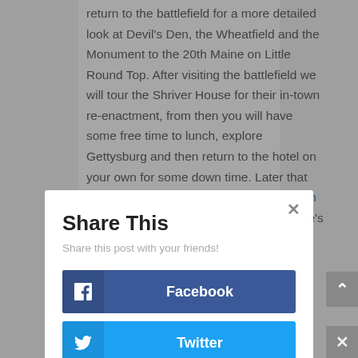return to the battlefield for a more detailed look at Devil's Den, the Wheatfield and the Monument to the 20th Maine on Little Round Top. After visiting the battlefield we will tour the Shriver House for their in-town re-enactment, from then you will have some free time to lunch, explore Gettysburg and then return to the hotel on your own for some down time. Later that evening we will dine at the historic Dobbin House and at twilight we will return to Lee's Line to get a more
Share This
Share this post with your friends!
Facebook
Twitter